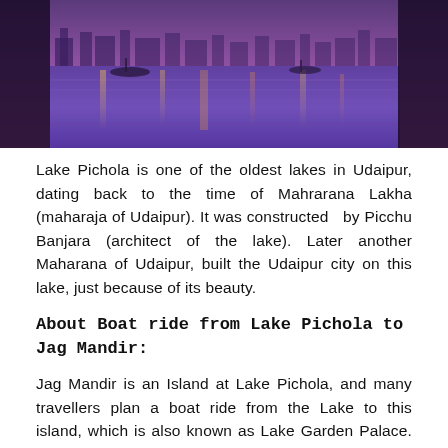[Figure (photo): Photo of Lake Pichola at dusk/night with purple and pink hues reflected on the water, boats visible on the lake, and illuminated structures in the background.]
Lake Pichola is one of the oldest lakes in Udaipur, dating back to the time of Mahrarana Lakha (maharaja of Udaipur). It was constructed  by Picchu Banjara (architect of the lake). Later another Maharana of Udaipur, built the Udaipur city on this lake, just because of its beauty.
About Boat ride from Lake Pichola to Jag Mandir:
Jag Mandir is an Island at Lake Pichola, and many travellers plan a boat ride from the Lake to this island, which is also known as Lake Garden Palace. Here you will get to see a good view of Udaipur city.
The  architecture of Jag Mandir will definitely fascinate you, as this is a 3 story island built in the center of the lake. And it has Garden Courtyard, Gul Mahal, Bara